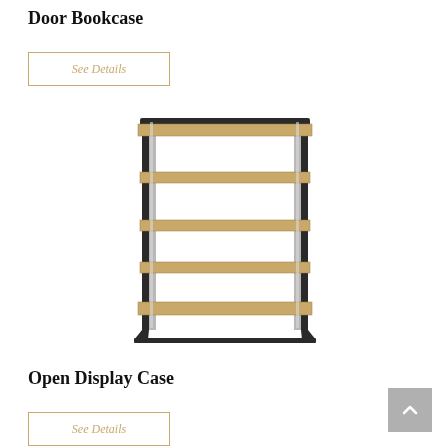Door Bookcase
See Details
[Figure (photo): A tall open bookcase/shelving unit with five wooden shelves and black/chrome metal frame legs, industrial style.]
Open Display Case
See Details